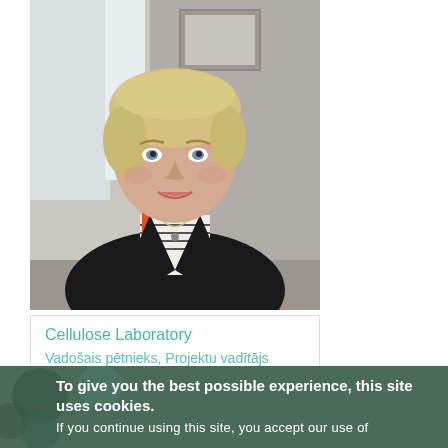[Figure (photo): Portrait photo of a woman with short blonde hair, wearing a black jacket over a striped top, smiling, seated in what appears to be an office or cafe setting.]
Cellulose Laboratory
Vadošais pētnieks, Projektu vadītājs
+371 26410287
To give you the best possible experience, this site uses cookies.
If you continue using this site, you accept our use of